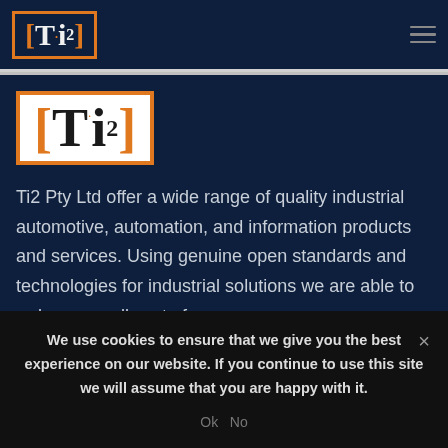[Ti2] (logo in header)
[Figure (logo): Ti2 Pty Ltd logo - orange bracket with Ti superscript 2 on white background]
Ti2 Pty Ltd offer a wide range of quality industrial automotive, automation, and information products and services. Using genuine open standards and technologies for industrial solutions we are able to reduce overall cost of
We use cookies to ensure that we give you the best experience on our website. If you continue to use this site we will assume that you are happy with it. Ok No